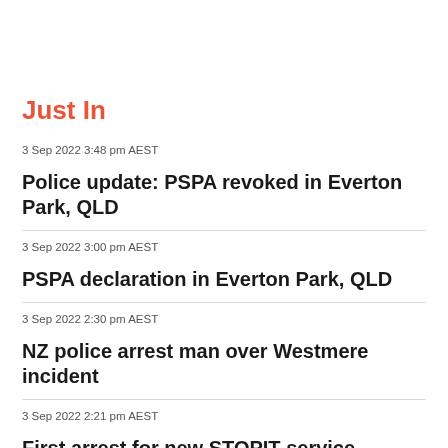Just In
3 Sep 2022 3:48 pm AEST
Police update: PSPA revoked in Everton Park, QLD
3 Sep 2022 3:00 pm AEST
PSPA declaration in Everton Park, QLD
3 Sep 2022 2:30 pm AEST
NZ police arrest man over Westmere incident
3 Sep 2022 2:21 pm AEST
First arrest for new STOPIT service